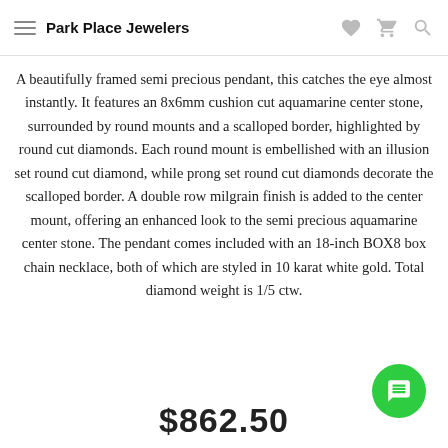Park Place Jewelers
A beautifully framed semi precious pendant, this catches the eye almost instantly. It features an 8x6mm cushion cut aquamarine center stone, surrounded by round mounts and a scalloped border, highlighted by round cut diamonds. Each round mount is embellished with an illusion set round cut diamond, while prong set round cut diamonds decorate the scalloped border. A double row milgrain finish is added to the center mount, offering an enhanced look to the semi precious aquamarine center stone. The pendant comes included with an 18-inch BOX8 box chain necklace, both of which are styled in 10 karat white gold. Total diamond weight is 1/5 ctw.
$862.50